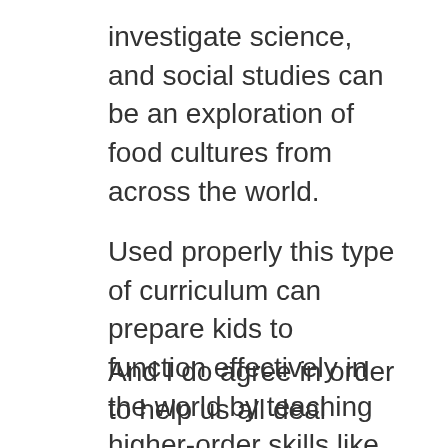investigate science, and social studies can be an exploration of food cultures from across the world.
Used properly this type of curriculum can prepare kids to function effectively in the world by teaching higher-order skills like critical thinking, problem solving and effective communication <as well as unhealthy versus healthy eating skills>.
And I do agree in order to help us all deal